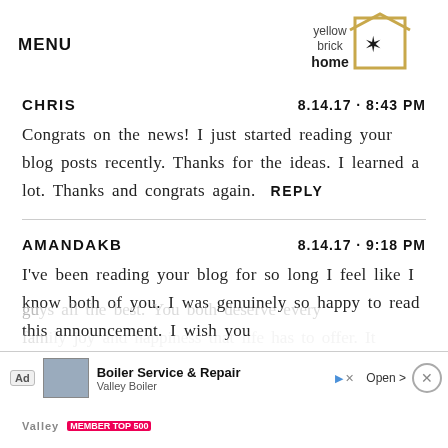MENU | yellow brick home (logo)
CHRIS   8.14.17 · 8:43 PM
Congrats on the news! I just started reading your blog posts recently. Thanks for the ideas. I learned a lot. Thanks and congrats again.  REPLY
AMANDAKB   8.14.17 · 9:18 PM
I've been reading your blog for so long I feel like I know both of you. I was genuinely so happy to read this announcement. I wish you gu...
[Figure (screenshot): Ad banner: Boiler Service & Repair - Valley Boiler, Open button, close X button]